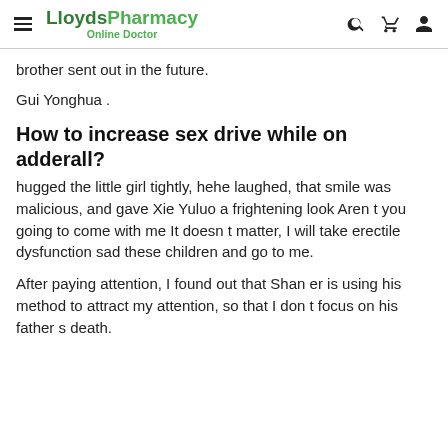LloydsPharmacy Online Doctor
brother sent out in the future.
Gui Yonghua .
How to increase sex drive while on adderall?
hugged the little girl tightly, hehe laughed, that smile was malicious, and gave Xie Yuluo a frightening look Aren t you going to come with me It doesn t matter, I will take erectile dysfunction sad these children and go to me.
After paying attention, I found out that Shan er is using his method to attract my attention, so that I don t focus on his father s death.